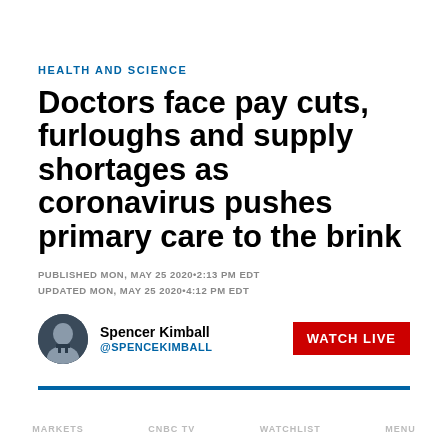HEALTH AND SCIENCE
Doctors face pay cuts, furloughs and supply shortages as coronavirus pushes primary care to the brink
PUBLISHED MON, MAY 25 2020•2:13 PM EDT
UPDATED MON, MAY 25 2020•4:12 PM EDT
Spencer Kimball
@SPENCEKIMBALL
MARKETS    CNBC TV    WATCHLIST    MENU